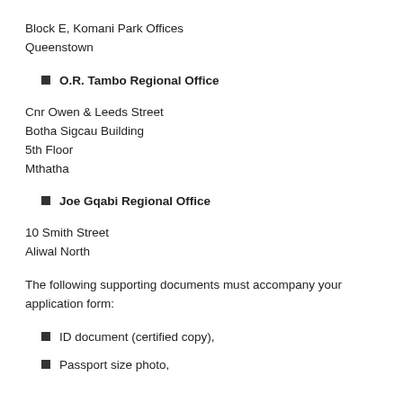Block E, Komani Park Offices
Queenstown
O.R. Tambo Regional Office
Cnr Owen & Leeds Street
Botha Sigcau Building
5th Floor
Mthatha
Joe Gqabi Regional Office
10 Smith Street
Aliwal North
The following supporting documents must accompany your application form:
ID document (certified copy),
Passport size photo,